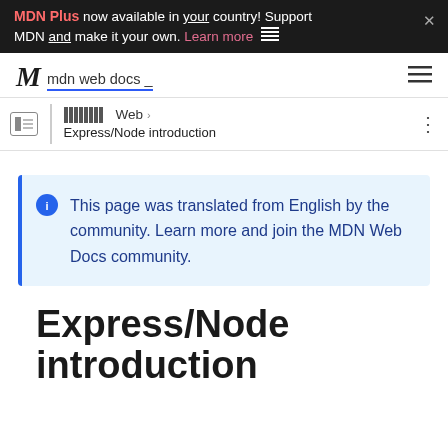MDN Plus now available in your country! Support MDN and make it your own. Learn more
[Figure (logo): MDN Web Docs logo with stylized M and text 'mdn web docs']
Web > Express/Node introduction
This page was translated from English by the community. Learn more and join the MDN Web Docs community.
Express/Node introduction